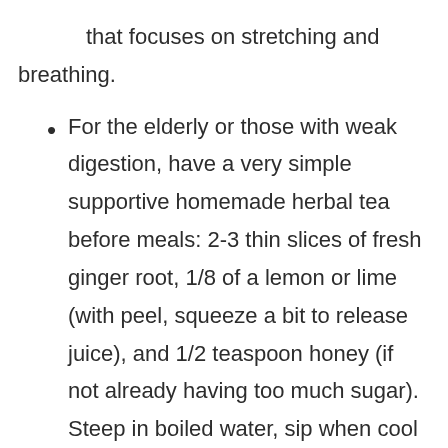that focuses on stretching and breathing.
For the elderly or those with weak digestion, have a very simple supportive homemade herbal tea before meals: 2-3 thin slices of fresh ginger root, 1/8 of a lemon or lime (with peel, squeeze a bit to release juice), and 1/2 teaspoon honey (if not already having too much sugar).  Steep in boiled water, sip when cool enough.  This simple infusion is inexpensive and easy to make.  Ginger protects the lungs from phlegm, citrus peel also helps us handle phlegm and keep